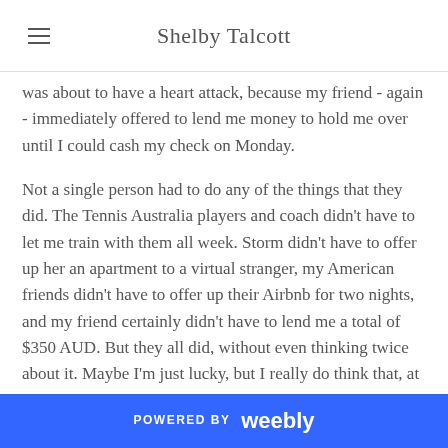Shelby Talcott
was about to have a heart attack, because my friend - again - immediately offered to lend me money to hold me over until I could cash my check on Monday.

Not a single person had to do any of the things that they did. The Tennis Australia players and coach didn't have to let me train with them all week. Storm didn't have to offer up her an apartment to a virtual stranger, my American friends didn't have to offer up their Airbnb for two nights, and my friend certainly didn't have to lend me a total of $350 AUD. But they all did, without even thinking twice about it. Maybe I'm just lucky, but I really do think that, at the end of the day, most players realize that we're all in the same boat. Is it hard for me to admit that I had to accept so
POWERED BY weebly